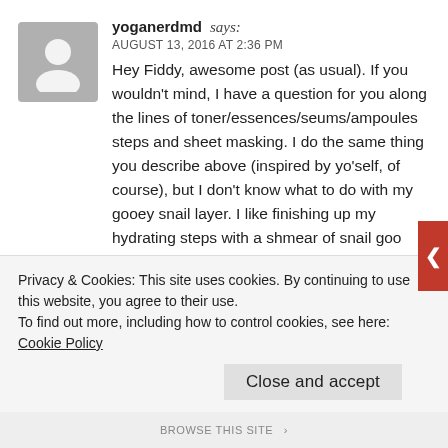[Figure (illustration): Gray placeholder avatar icon showing silhouette of a person]
yoganerdmd says: AUGUST 13, 2016 AT 2:36 PM
Hey Fiddy, awesome post (as usual). If you wouldn't mind, I have a question for you along the lines of toner/essences/seums/ampoules steps and sheet masking. I do the same thing you describe above (inspired by yo'self, of course), but I don't know what to do with my gooey snail layer. I like finishing up my hydrating steps with a shmear of snail goo (currently the COSRX AIO) and then an occlusive. And I can't decide. Sometimes I sheet mask before the snail goo, sometimes after. If I do it before, I never know if my mask is able to drive through the snail cream to help all those hydrator layers absorb. But if I do the snail AFTER the mask, it seems like it
Privacy & Cookies: This site uses cookies. By continuing to use this website, you agree to their use.
To find out more, including how to control cookies, see here: Cookie Policy
Close and accept